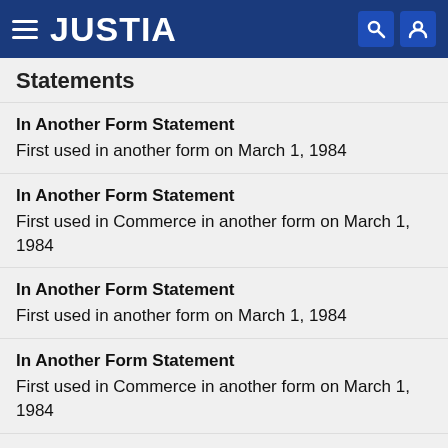JUSTIA
Statements
In Another Form Statement
First used in another form on March 1, 1984
In Another Form Statement
First used in Commerce in another form on March 1, 1984
In Another Form Statement
First used in another form on March 1, 1984
In Another Form Statement
First used in Commerce in another form on March 1, 1984
Disclaimer with Predetermined Text
"CENTERS OF AMERICA"